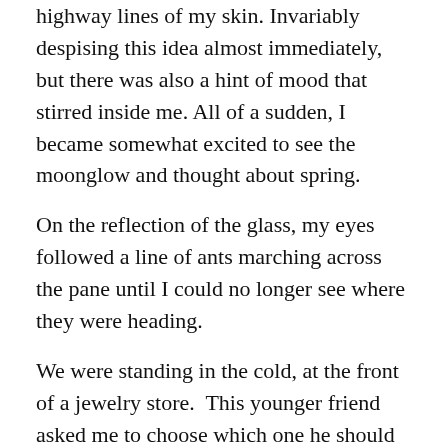highway lines of my skin. Invariably despising this idea almost immediately, but there was also a hint of mood that stirred inside me. All of a sudden, I became somewhat excited to see the moonglow and thought about spring.
On the reflection of the glass, my eyes followed a line of ants marching across the pane until I could no longer see where they were heading.
We were standing in the cold, at the front of a jewelry store.  This younger friend asked me to choose which one he should buy her. Our hands were tucked deep in our pockets, nursing to their feeble quakes.
I told him he was at risk, and she should b...